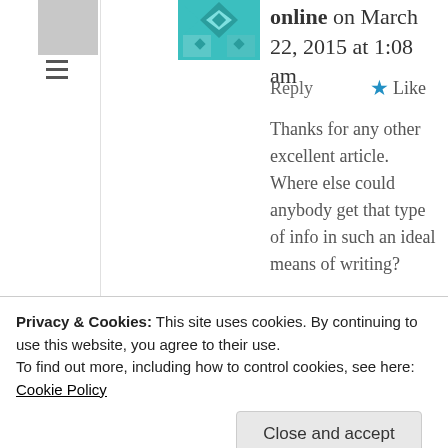online on March 22, 2015 at 1:08 am
Reply
Like
Thanks for any other excellent article. Where else could anybody get that type of info in such an ideal means of writing?

I have a presentation next week, and I am on the search for such information.
Kat Jolliffe on April 5, 2015 at
Privacy & Cookies: This site uses cookies. By continuing to use this website, you agree to their use.
To find out more, including how to control cookies, see here: Cookie Policy
Close and accept
blog hardly covers anything really